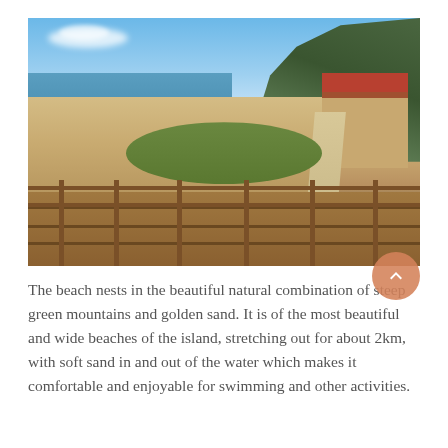[Figure (photo): A beach scene with golden sand in the foreground, a wooden boardwalk with a fence in the lower portion, green vegetation and a steep green mountain/cliff in the background on the right, calm blue sea on the left, a building with a terracotta roof visible on the right side, and a blue sky with light clouds above.]
The beach nests in the beautiful natural combination of steep green mountains and golden sand. It is of the most beautiful and wide beaches of the island, stretching out for about 2km, with soft sand in and out of the water which makes it comfortable and enjoyable for swimming and other activities.